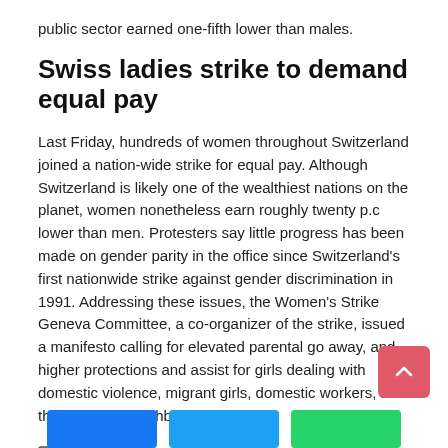public sector earned one-fifth lower than males.
Swiss ladies strike to demand equal pay
Last Friday, hundreds of women throughout Switzerland joined a nation-wide strike for equal pay. Although Switzerland is likely one of the wealthiest nations on the planet, women nonetheless earn roughly twenty p.c lower than men. Protesters say little progress has been made on gender parity in the office since Switzerland's first nationwide strike against gender discrimination in 1991. Addressing these issues, the Women's Strike Geneva Committee, a co-organizer of the strike, issued a manifesto calling for elevated parental go away, and higher protections and assist for girls dealing with domestic violence, migrant girls, domestic workers, and the LGBTQ+ neighborhood.
Post Views: 37